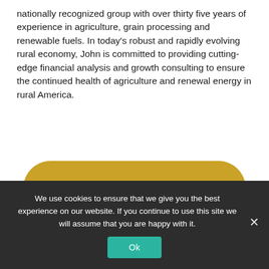nationally recognized group with over thirty five years of experience in agriculture, grain processing and renewable fuels. In today's robust and rapidly evolving rural economy, John is committed to providing cutting-edge financial analysis and growth consulting to ensure the continued health of agriculture and renewal energy in rural America.
[Figure (other): Gold/tan colored button shape with text 'REQUEST A CONSULT' in bold uppercase letters]
[Figure (photo): Partial photo of a man's head with gray hair, visible from top of frame]
We use cookies to ensure that we give you the best experience on our website. If you continue to use this site we will assume that you are happy with it.